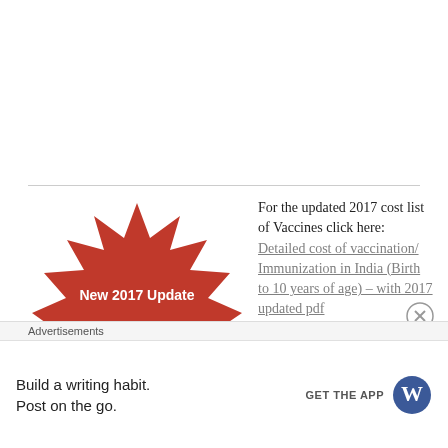[Figure (illustration): Red starburst/explosion shape with white bold text 'New 2017 Update' in the center]
For the updated 2017 cost list of Vaccines click here: Detailed cost of vaccination/ Immunization in India (Birth to 10 years of age) – with 2017 updated pdf file download
[Figure (logo): WordPress logo (W in blue circle) next to GET THE APP button]
Advertisements
Build a writing habit. Post on the go.